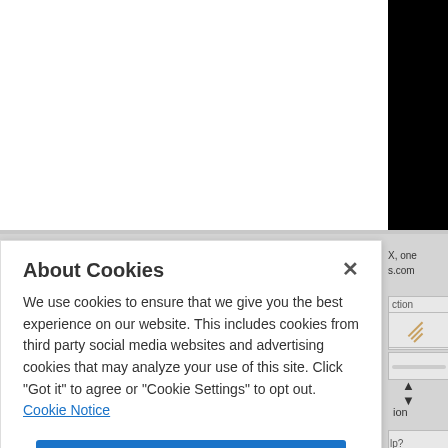[Figure (screenshot): Screenshot of a webpage partially visible behind a cookie consent modal. Top area shows white background on left and black on right. Below a horizontal divider is a gray background with partial sidebar UI elements visible on the right edge.]
About Cookies
We use cookies to ensure that we give you the best experience on our website. This includes cookies from third party social media websites and advertising cookies that may analyze your use of this site. Click "Got it" to agree or "Cookie Settings" to opt out.
Cookie Notice
Got It
Cookies Settings